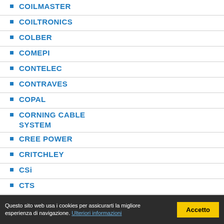COILMASTER
COILTRONICS
COLBER
COMEPI
CONTELEC
CONTRAVES
COPAL
CORNING CABLE SYSTEM
CREE POWER
CRITCHLEY
CSi
CTS
CVILUX
CYPRESS
DAEWOO
DALE
Dallas
DANFOSS
DANOTHERM
DATA DELAY DEVICES
Questo sito web usa i cookies per assicurarti la migliore esperienza di navigazione. Ulteriori informazioni